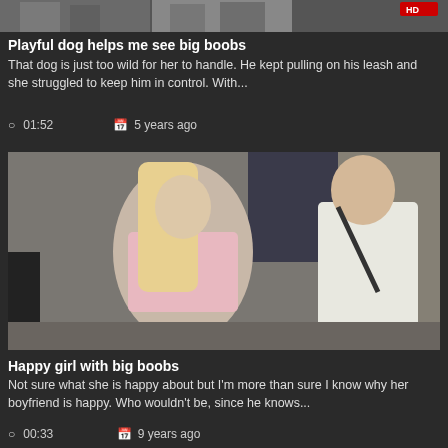[Figure (photo): Top strip showing partial video thumbnails with people]
Playful dog helps me see big boobs
That dog is just too wild for her to handle. He kept pulling on his leash and she struggled to keep him in control. With...
01:52   5 years ago
[Figure (photo): A blonde woman in a pink top walking with a bald man in a white t-shirt carrying a bag, on a city street]
Happy girl with big boobs
Not sure what she is happy about but I'm more than sure I know why her boyfriend is happy. Who wouldn't be, since he knows...
00:33   9 years ago